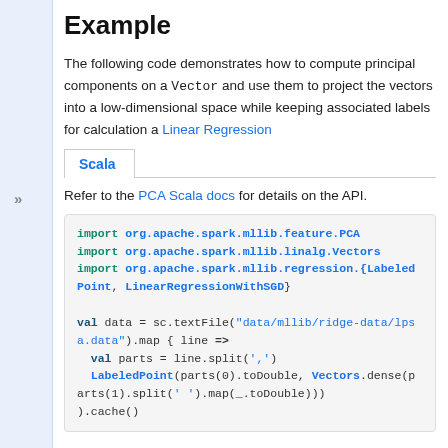Example
The following code demonstrates how to compute principal components on a Vector and use them to project the vectors into a low-dimensional space while keeping associated labels for calculation a Linear Regression
Scala (tab)
Refer to the PCA Scala docs for details on the API.
import org.apache.spark.mllib.feature.PCA
import org.apache.spark.mllib.linalg.Vectors
import org.apache.spark.mllib.regression.{LabeledPoint, LinearRegressionWithSGD}

val data = sc.textFile("data/mllib/ridge-data/lpsa.data").map { line =>
  val parts = line.split(',')
  LabeledPoint(parts(0).toDouble, Vectors.dense(parts(1).split(' ').map(_.toDouble)))
).cache()